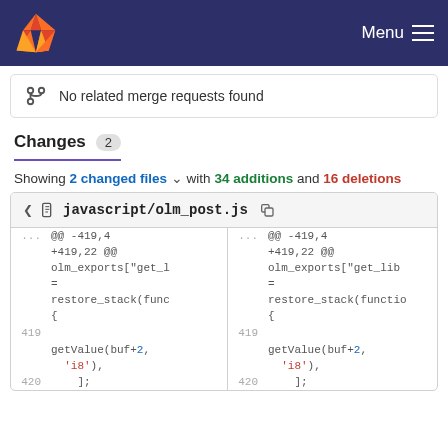Menu
No related merge requests found
Changes 2
Showing 2 changed files with 34 additions and 16 deletions
javascript/olm_post.js
| ... | @@ -419,4 | ... | @@ -419,4 |
| --- | --- | --- | --- |
|  | +419,22 @@ |  | +419,22 @@ |
|  | olm_exports["get_l |  | olm_exports["get_lib |
|  | = |  | = |
|  | restore_stack(func |  | restore_stack(functio |
|  | { |  | { |
| 419 |  | 419 |  |
|  | getValue(buf+2, |  | getValue(buf+2, |
|  |   'i8'), |  |   'i8'), |
| 420 |   ]; | 420 |   ]; |